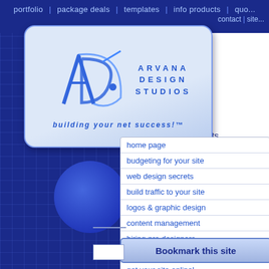portfolio | package deals | templates | info products | quo... contact | site...
[Figure (logo): Arvana Design Studios logo with ADS stylized letters and tagline 'building your net success!™']
home page
budgeting for your site
web design secrets
build traffic to your site
logos & graphic design
content management
hiring pro designers
work with a mentor
get your site online!
what pages, and you know where to focus your efforts to make improvements.
Private discussion forums and unlimited customer support to you
Bookmark this site